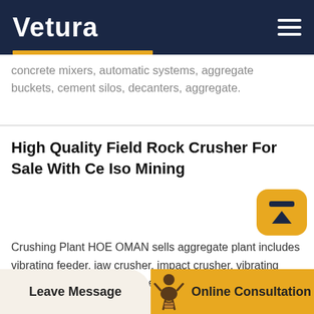Vetura
concrete mixers, automatic systems, aggregate buckets, cement silos, decanters, aggregate.
High Quality Field Rock Crusher For Sale With Ce Iso Mining
Crushing Plant HOE OMAN sells aggregate plant includes vibrating feeder, jaw crusher, impact crusher, vibrating screen, belt conveyor and centrally electric controlling system, etc. The designed capacity is from 30t h to 1000t h. To meet customers specific requirement, we can also add other equipments such as cone crusher, dust catcher on the production line.100 Tph Iron Ore Mobile Crushing And Screening Plant. 100 Tph Iron Ore Mobile Crushing And Screening Plant. 100th mobile iron ore
Leave Message   Online Consultation